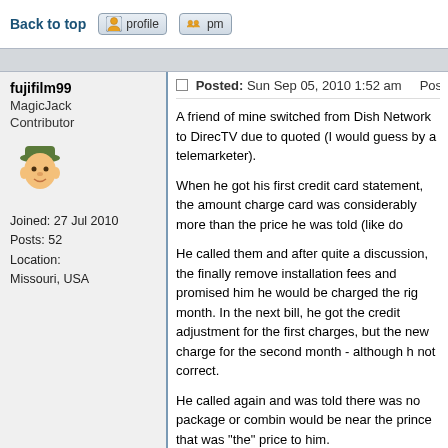Back to top  [profile]  [pm]
fujifilm99
MagicJack
Contributor
Joined: 27 Jul 2010
Posts: 52
Location:
Missouri, USA
Posted: Sun Sep 05, 2010 1:52 am    Post subject: Report y lost
A friend of mine switched from Dish Network to DirecTV due to quoted (I would guess by a telemarketer).

When he got his first credit card statement, the amount charge card was considerably more than the price he was told (like do

He called them and after quite a discussion, the finally remove installation fees and promised him he would be charged the rig month. In the next bill, he got the credit adjustment for the first charges, but the new charge for the second month - although h not correct.

He called again and was told there was no package or combin would be near the prince that was "the" price to him.

He told him that he wasn't paying anything other than they pric promised. He told them he didn't want it and they could come p up. They said he'd still be charged because there was a certain period for the dear that was more than he'd been quoted.